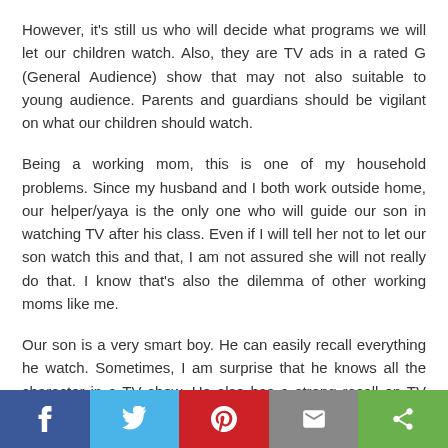However, it's still us who will decide what programs we will let our children watch. Also, they are TV ads in a rated G (General Audience) show that may not also suitable to young audience. Parents and guardians should be vigilant on what our children should watch.
Being a working mom, this is one of my household problems. Since my husband and I both work outside home, our helper/yaya is the only one who will guide our son in watching TV after his class. Even if I will tell her not to let our son watch this and that, I am not assured she will not really do that. I know that's also the dilemma of other working moms like me.
Our son is a very smart boy. He can easily recall everything he watch. Sometimes, I am surprise that he knows all the character in a TV show. He also has a strong recall on TV ads jingles too.
Just like what I have said, there's a tendency that people believes everything we watch on TV. Let me share this one case of ridiculous lawsuits about a TV ads. Because he believed that when he use that certain product, what the TV ads shows will happen and can really feel if that product is that what the company...